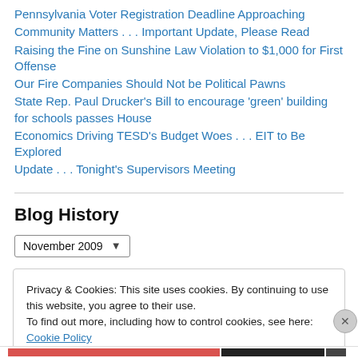Pennsylvania Voter Registration Deadline Approaching
Community Matters . . . Important Update, Please Read
Raising the Fine on Sunshine Law Violation to $1,000 for First Offense
Our Fire Companies Should Not be Political Pawns
State Rep. Paul Drucker’s Bill to encourage ‘green’ building for schools passes House
Economics Driving TESD’s Budget Woes . . . EIT to Be Explored
Update . . . Tonight’s Supervisors Meeting
Blog History
November 2009
Privacy & Cookies: This site uses cookies. By continuing to use this website, you agree to their use.
To find out more, including how to control cookies, see here: Cookie Policy
Close and accept